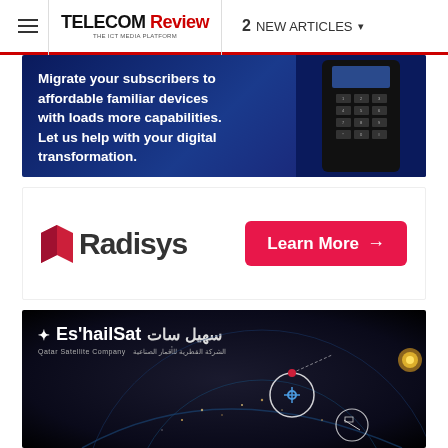TELECOM Review | 2 NEW ARTICLES
[Figure (advertisement): Radisys dark blue banner ad: 'Migrate your subscribers to affordable familiar devices with loads more capabilities. Let us help with your digital transformation.' with image of a mobile phone keypad]
[Figure (advertisement): Radisys white banner ad with Radisys logo on the left and a 'Learn More →' pink/red button on the right]
[Figure (advertisement): Es'hailSat Qatar Satellite Company dark space-themed banner ad with logo and satellite/earth imagery]